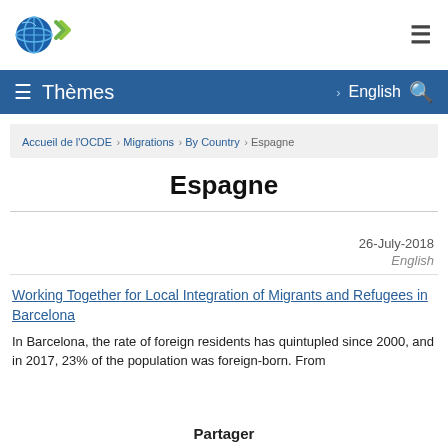OECD logo and hamburger menu
Thèmes > English [search]
Accueil de l'OCDE > Migrations > By Country > Espagne
Espagne
26-July-2018
English
Working Together for Local Integration of Migrants and Refugees in Barcelona
In Barcelona, the rate of foreign residents has quintupled since 2000, and in 2017, 23% of the population was foreign-born. From the late 1990s…
Partager